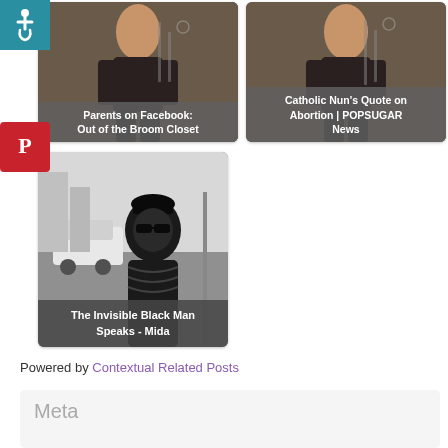[Figure (other): Accessibility wheelchair icon on teal background, top-left corner]
[Figure (other): Card with woman photo and caption: Parents on Facebook: Out of the Broom Closet]
[Figure (other): Card with woman photo and caption: Catholic Nun's Quote on Abortion | POPSUGAR News]
[Figure (logo): Pinterest logo (white P on red background)]
[Figure (other): Card with black and white photo of man wearing sunglasses and caption: The Invisible Black Man Speaks - Mida]
Powered by Contextual Related Posts
Meta